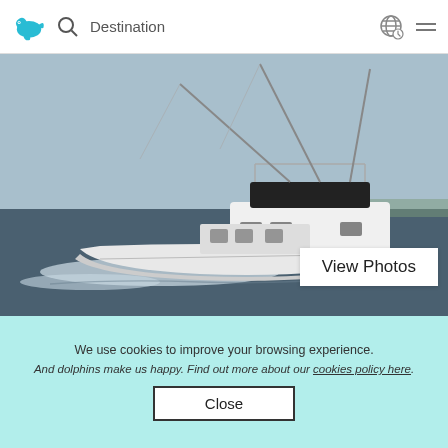Destination
[Figure (photo): A white sport fishing boat with tall outrigger poles cruising on dark blue ocean water, with a light blue sky and distant land on the horizon. A white 'View Photos' button overlay appears in the lower right of the image.]
We use cookies to improve your browsing experience.
And dolphins make us happy. Find out more about our cookies policy here.
Close